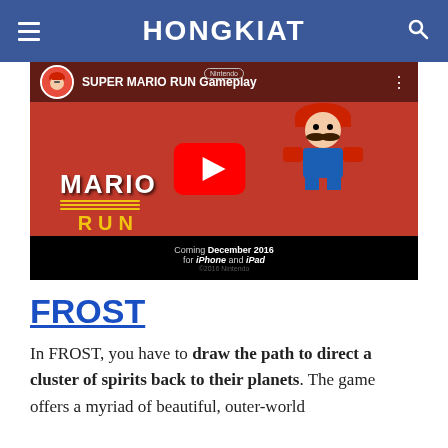HONGKIAT
[Figure (screenshot): YouTube video thumbnail for SUPER MARIO RUN Gameplay video by Nintendo, showing Mario character on red background with YouTube play button, MARIO RUN logo, and text 'Coming December 2016 for iPhone and iPad']
FROST
In FROST, you have to draw the path to direct a cluster of spirits back to their planets. The game offers a myriad of beautiful, outer-world